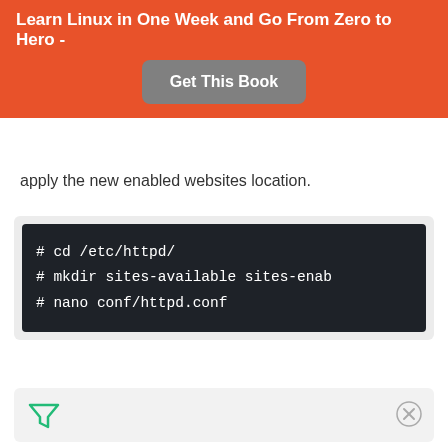Learn Linux in One Week and Go From Zero to Hero -
[Figure (other): Orange banner with 'Get This Book' button]
apply the new enabled websites location.
[Figure (screenshot): Dark terminal code block showing: # cd /etc/httpd/  # mkdir sites-available sites-enabled  # nano conf/httpd.conf]
[Figure (other): Advertisement placeholder with green filter icon and close (X) button]